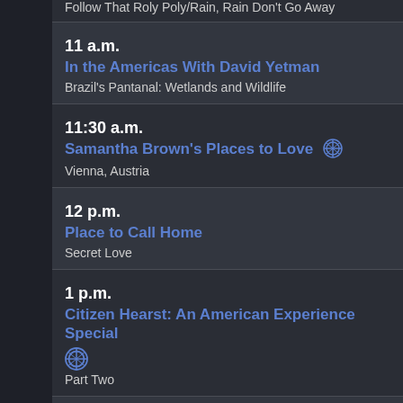Follow That Roly Poly/Rain, Rain Don't Go Away
11 a.m. — In the Americas With David Yetman — Brazil's Pantanal: Wetlands and Wildlife
11:30 a.m. — Samantha Brown's Places to Love [HD icon] — Vienna, Austria
12 p.m. — Place to Call Home — Secret Love
1 p.m. — Citizen Hearst: An American Experience Special [HD icon] — Part Two
3 p.m. — Great Escape: The True Story